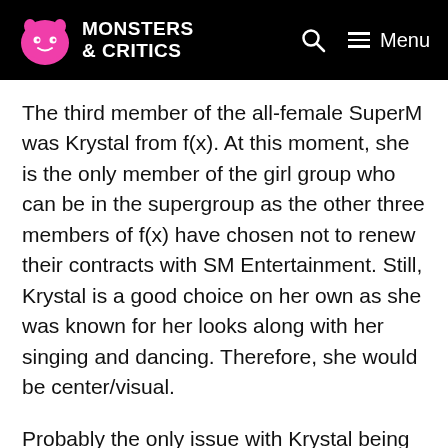MONSTERS & CRITICS
The third member of the all-female SuperM was Krystal from f(x). At this moment, she is the only member of the girl group who can be in the supergroup as the other three members of f(x) have chosen not to renew their contracts with SM Entertainment. Still, Krystal is a good choice on her own as she was known for her looks along with her singing and dancing. Therefore, she would be center/visual.
Probably the only issue with Krystal being in the supergroup is her working with any members of Girls' Generation. Though we don't know what happened back in 2013, Krystal has said she believes it was the other members of Girls'